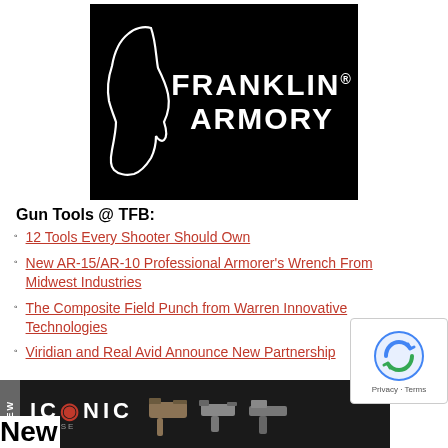[Figure (logo): Franklin Armory logo — black background with white silhouette of a face on the left and bold white text 'FRANKLIN® ARMORY' on the right]
Gun Tools @ TFB:
12 Tools Every Shooter Should Own
New AR-15/AR-10 Professional Armorer's Wrench From Midwest Industries
The Composite Field Punch from Warren Innovative Technologies
Viridian and Real Avid Announce New Partnership
[Figure (logo): ICONIC BY RISE banner advertisement with firearm accessories on dark background]
New